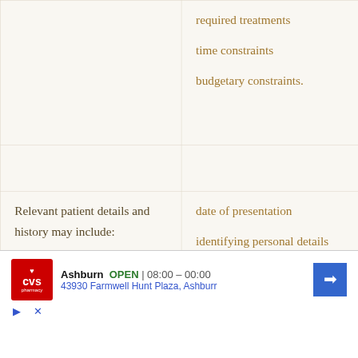|  | required treatments

time constraints

budgetary constraints. |
|  |  |
| Relevant patient details and history may include: | date of presentation

identifying personal details

source of referral, if |
[Figure (other): CVS Pharmacy advertisement banner showing Ashburn location OPEN 08:00-00:00 at 43930 Farmwell Hunt Plaza, Ashburr]